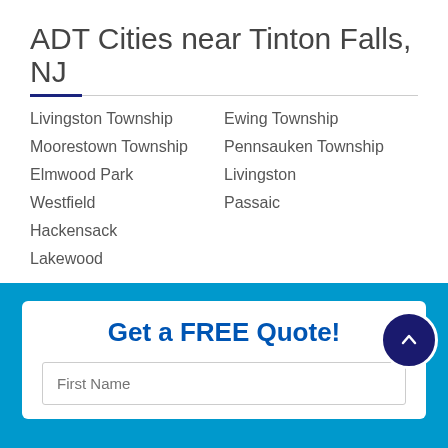ADT Cities near Tinton Falls, NJ
Livingston Township
Moorestown Township
Elmwood Park
Westfield
Hackensack
Lakewood
Ewing Township
Pennsauken Township
Livingston
Passaic
ADT Tinton Falls, NJ Deals
Call today to speak with a representative about an ADT Security System for your home!
Get a FREE Quote!
First Name